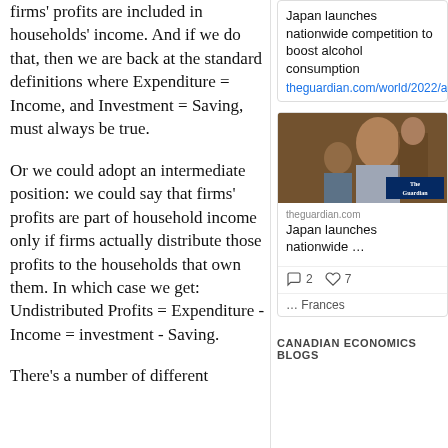firms' profits are included in households' income. And if we do that, then we are back at the standard definitions where Expenditure = Income, and Investment = Saving, must always be true.
Or we could adopt an intermediate position: we could say that firms' profits are part of household income only if firms actually distribute those profits to the households that own them. In which case we get: Undistributed Profits = Expenditure - Income = investment - Saving.
There's a number of different
Japan launches nationwide competition to boost alcohol consumption
theguardian.com/world/2022/aug…
[Figure (photo): Photo of a woman drinking alcohol at a bar/restaurant, with The Guardian logo badge overlay]
theguardian.com
Japan launches nationwide …
2  7
Frances
CANADIAN ECONOMICS BLOGS